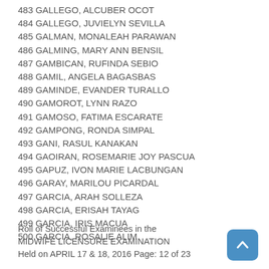483 GALLEGO, ALCUBER OCOT
484 GALLEGO, JUVIELYN SEVILLA
485 GALMAN, MONALEAH PARAWAN
486 GALMING, MARY ANN BENSIL
487 GAMBICAN, RUFINDA SEBIO
488 GAMIL, ANGELA BAGASBAS
489 GAMINDE, EVANDER TURALLO
490 GAMOROT, LYNN RAZO
491 GAMOSO, FATIMA ESCARATE
492 GAMPONG, RONDA SIMPAL
493 GANI, RASUL KANAKAN
494 GAOIRAN, ROSEMARIE JOY PASCUA
495 GAPUZ, IVON MARIE LACBUNGAN
496 GARAY, MARILOU PICARDAL
497 GARCIA, ARAH SOLLEZA
498 GARCIA, ERISAH TAYAG
499 GARCIA, IRIS MACUA
500 GARCIA, ROSALIE ALIM
Roll of Successful Examinees in the MIDWIFE LICENSURE EXAMINATION Held on APRIL 17 & 18, 2016 Page: 12 of 23